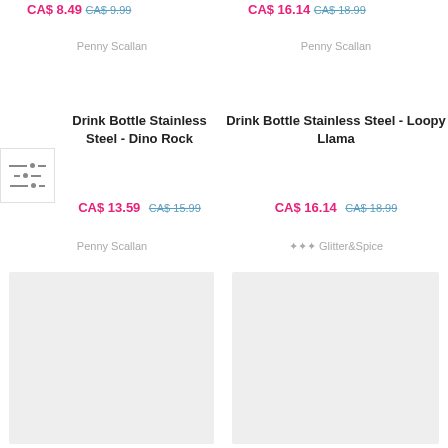CA$ 8.49 CA$ 9.99
CA$ 16.14 CA$ 18.99
Penny Scallan
Penny Scallan
Drink Bottle Stainless Steel - Dino Rock
Drink Bottle Stainless Steel - Loopy Llama
CA$ 13.59 CA$ 15.99
CA$ 16.14 CA$ 18.99
Penny Scallan
✦✦✦ Glitter&Spice
[Figure (other): Filter/sort icon with three horizontal lines with adjustment dots]
[Figure (other): Product image placeholder (light gray rectangle)]
[Figure (other): Product image placeholder (light gray rectangle)]